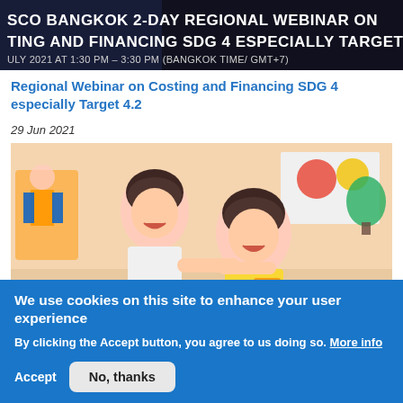[Figure (screenshot): UNESCO Bangkok webinar banner with dark background showing text: 'SCO BANGKOK 2-DAY REGIONAL WEBINAR ON TING AND FINANCING SDG 4 ESPECIALLY TARGET' and 'ULY 2021 AT 1:30 PM – 3:30 PM (BANGKOK TIME/ GMT+7)']
Regional Webinar on Costing and Financing SDG 4 especially Target 4.2
29 Jun 2021
[Figure (photo): Two young Asian girls laughing and playing together in a colorful classroom setting]
We use cookies on this site to enhance your user experience
By clicking the Accept button, you agree to us doing so. More info